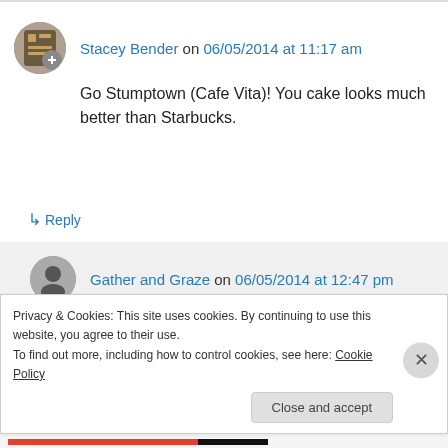Stacey Bender on 06/05/2014 at 11:17 am
Go Stumptown (Cafe Vita)! You cake looks much better than Starbucks.
↳ Reply
Gather and Graze on 06/05/2014 at 12:47 pm
Ahhh Stumptown – absolutely delicious!
Privacy & Cookies: This site uses cookies. By continuing to use this website, you agree to their use.
To find out more, including how to control cookies, see here: Cookie Policy
Close and accept